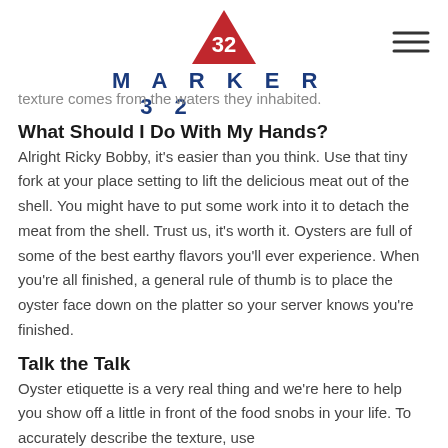MARKER 32
texture comes from the waters they inhabited.
What Should I Do With My Hands?
Alright Ricky Bobby, it's easier than you think. Use that tiny fork at your place setting to lift the delicious meat out of the shell. You might have to put some work into it to detach the meat from the shell. Trust us, it's worth it. Oysters are full of some of the best earthy flavors you'll ever experience. When you're all finished, a general rule of thumb is to place the oyster face down on the platter so your server knows you're finished.
Talk the Talk
Oyster etiquette is a very real thing and we're here to help you show off a little in front of the food snobs in your life. To accurately describe the texture, use